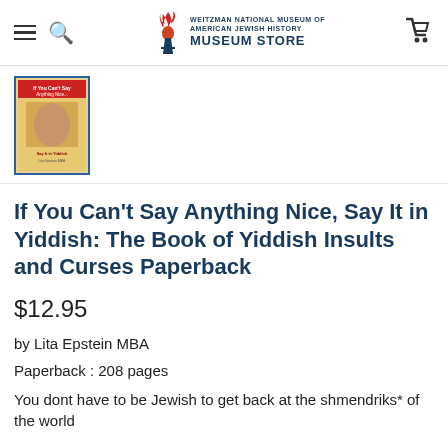Weitzman National Museum of American Jewish History Museum Store
[Figure (photo): Thumbnail image of book cover for 'If You Can't Say Anything Nice, Say It in Yiddish']
If You Can't Say Anything Nice, Say It in Yiddish: The Book of Yiddish Insults and Curses Paperback
$12.95
by Lita Epstein MBA
Paperback : 208 pages
You dont have to be Jewish to get back at the shmendriks* of the world